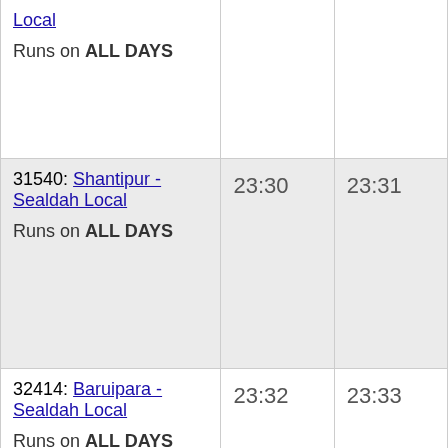| Train | Arrival | Departure |
| --- | --- | --- |
| Local
Runs on ALL DAYS |  |  |
| 31540: Shantipur - Sealdah Local
Runs on ALL DAYS | 23:30 | 23:31 |
| 32414: Baruipara - Sealdah Local
Runs on ALL DAYS | 23:32 | 23:33 |
| 33861: Sealdah - Bangaon Jn Local
Runs on ALL DAYS | 23:48 | 23:49 |
| 31633: Sealdah - Ranaghat Jn Local
Runs on ALL DAYS... | 23:48 | 23:49 |